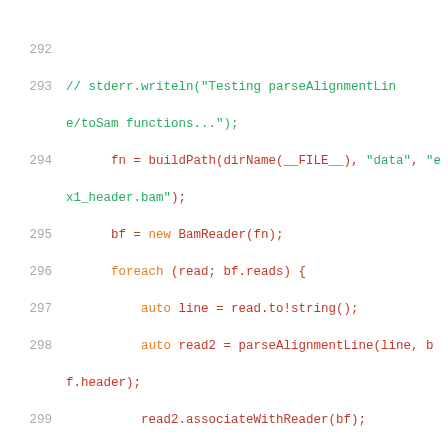Code listing lines 292-310, D programming language source code showing BAM file reading and alignment line parsing logic.